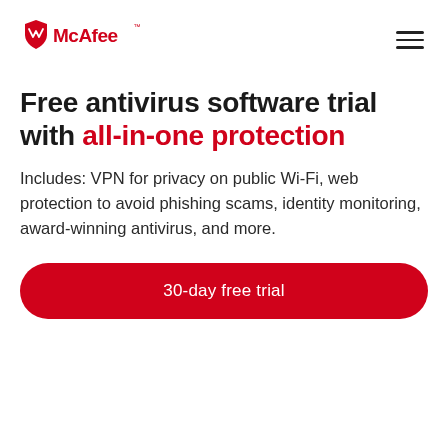[Figure (logo): McAfee logo with red shield icon and McAfee wordmark in red, with TM superscript]
Free antivirus software trial with all-in-one protection
Includes: VPN for privacy on public Wi-Fi, web protection to avoid phishing scams, identity monitoring, award-winning antivirus, and more.
30-day free trial